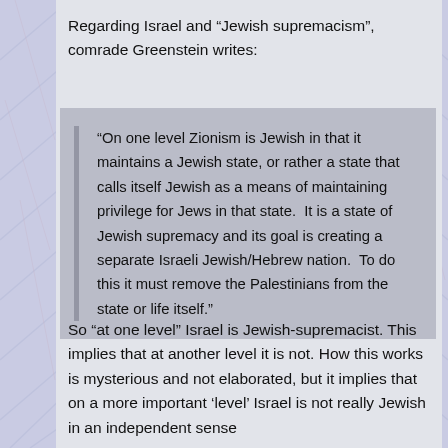Regarding Israel and “Jewish supremacism”, comrade Greenstein writes:
“On one level Zionism is Jewish in that it maintains a Jewish state, or rather a state that calls itself Jewish as a means of maintaining privilege for Jews in that state.  It is a state of Jewish supremacy and its goal is creating a separate Israeli Jewish/Hebrew nation.  To do this it must remove the Palestinians from the state or life itself.”
So “at one level” Israel is Jewish-supremacist. This implies that at another level it is not. How this works is mysterious and not elaborated, but it implies that on a more important ‘level’ Israel is not really Jewish in an independent sense